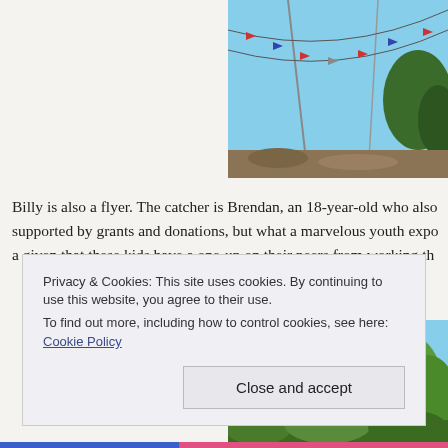[Figure (photo): Outdoor photograph showing flag buntings strung between poles against a clear blue sky, with trees visible in the background and rocky ground.]
Billy is also a flyer. The catcher is Brendan, an 18-year-old who also supported by grants and donations, but what a marvelous youth expo a given that these kids have a one-up on their peers from working th
[Figure (photo): Outdoor photograph showing trees with green foliage against a blue sky.]
Privacy & Cookies: This site uses cookies. By continuing to use this website, you agree to their use.
To find out more, including how to control cookies, see here: Cookie Policy
Close and accept